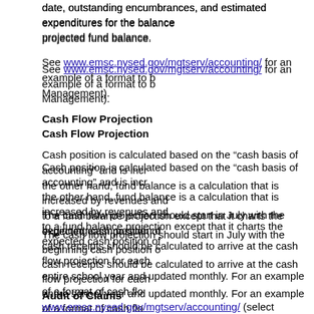date, outstanding encumbrances, and estimated expenditures for the balance of the year to arrive at a projected fund balance.
See www.emsc.nysed.gov/mgtserv/accounting/ for an example of a format to be used (select Financial Management).
Cash Flow Projection
Cash position is calculated based on the “cash basis of accounting” and is increased by cash receipts. On the other hand, fund balance is a calculation that is increased by revenues and decreased by expenditures. Similar to a fund balance projection except that it charts the expected cash position of the district.
The cash flow projection should start in July with the beginning cash position of the district. Estimated cash receipts should be calculated to arrive at the cash flow projection for each month, covering the entire school year and updated monthly. For an example of a format of cash flow projection, see www.emsc.nysed.gov/mgtserv/accounting/ (select Investment Instruments and Cash Management).
Audit of Claims
Claims may be audited by the board of education or by an internal auditor appointed pursuant to Education Law section 1709 (20a) or section 2526 of the Education Law. It is generally recommended that an internal auditor provides for more timely payment of bills and relieves the board of a routine function.
A claim to be submitted to the internal claims auditor for approval before the treasurer pays the claim.